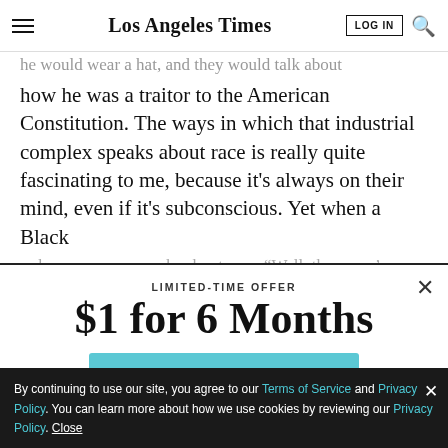Los Angeles Times
...he would wear a hat, and they would talk about how he was a traitor to the American Constitution. The ways in which that industrial complex speaks about race is really quite fascinating to me, because it's always on their mind, even if it's subconscious. Yet when a Black or brown person speaks about race, “Well, then, you’re...
LIMITED-TIME OFFER
$1 for 6 Months
SUBSCRIBE NOW
By continuing to use our site, you agree to our Terms of Service and Privacy Policy. You can learn more about how we use cookies by reviewing our Privacy Policy. Close